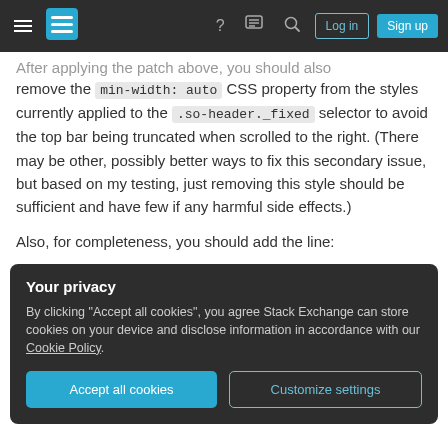Stack Exchange navigation bar with hamburger menu, logo, help, chat, search icons, Log in and Sign up buttons
After applying the patch above, you should also remove the min-width: auto CSS property from the styles currently applied to the .so-header._fixed selector to avoid the top bar being truncated when scrolled to the right. (There may be other, possibly better ways to fix this secondary issue, but based on my testing, just removing this style should be sufficient and have few if any harmful side effects.)
Also, for completeness, you should add the line:
Your privacy
By clicking "Accept all cookies", you agree Stack Exchange can store cookies on your device and disclose information in accordance with our Cookie Policy.
Accept all cookies   Customize settings